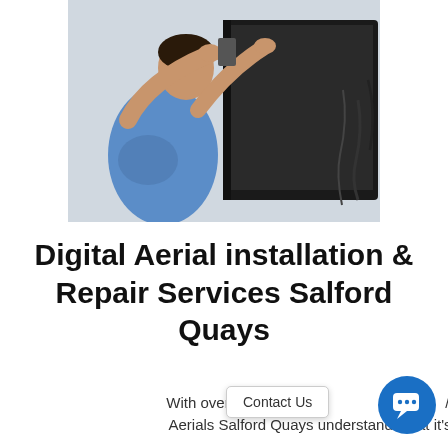[Figure (photo): A person (man in blue shirt) installing or mounting a flat screen TV on a wall, working with cables at the back of the television.]
Digital Aerial installation & Repair Services Salford Quays
With over 25 years in th... / Aerials Salford Quays understands that it's